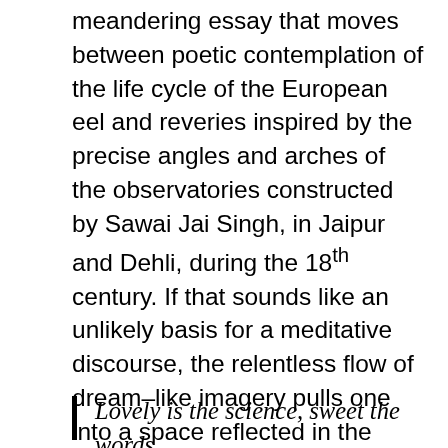meandering essay that moves between poetic contemplation of the life cycle of the European eel and reveries inspired by the precise angles and arches of the observatories constructed by Sawai Jai Singh, in Jaipur and Dehli, during the 18th century. If that sounds like an unlikely basis for a meditative discourse, the relentless flow of dream–like imagery pulls one into a space reflected in the silvery passage of migrating eels through dark waters and in the movement of stars across the night sky—a space that opens to an exploration of the nature of humanity, morality and society. One simply has to be willing to let go and follow the unspooling sentences:
Lovely is the science, sweet the words